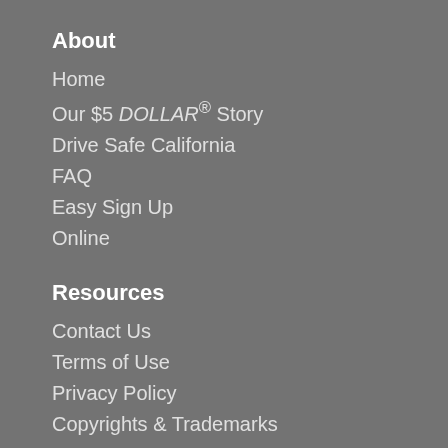About
Home
Our $5 DOLLAR® Story
Drive Safe California
FAQ
Easy Sign Up
Online
Resources
Contact Us
Terms of Use
Privacy Policy
Copyrights & Trademarks
Verified & Secured
[Figure (logo): Payment method logos: Discover, VISA, AMEX, MasterCard]